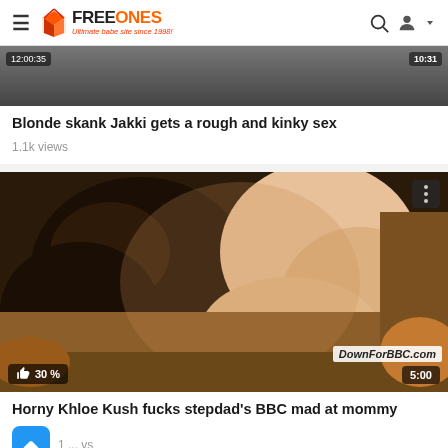FREEONES — Ultimate babe site since 1998!
[Figure (screenshot): Partial video thumbnail of first video (cropped top)]
Blonde skank Jakki gets a rough and kinky sex
1.1k views
[Figure (screenshot): Video thumbnail showing two people on a couch. Badges: 30% like rating, 5:00 duration, DownForBBC.com watermark, menu dots button]
Horny Khloe Kush fucks stepdad's BBC mad at mommy
1 ... vs
[Figure (screenshot): Partial video thumbnail at bottom of page (cropped)]